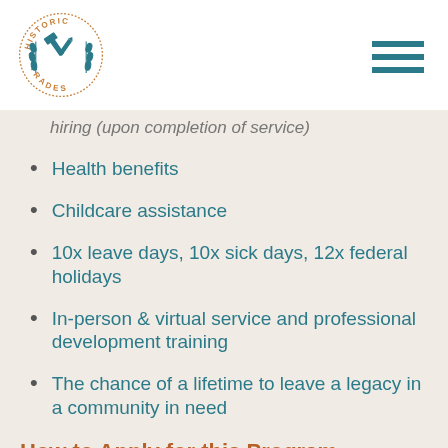[Figure (logo): Historic Trades circular logo with hammer and pen cross tools, wheat wreaths, teal and orange colors]
hiring (upon completion of service)
Health benefits
Childcare assistance
10x leave days, 10x sick days, 12x federal holidays
In-person & virtual service and professional development training
The chance of a lifetime to leave a legacy in a community in need
How to Apply for this Program: